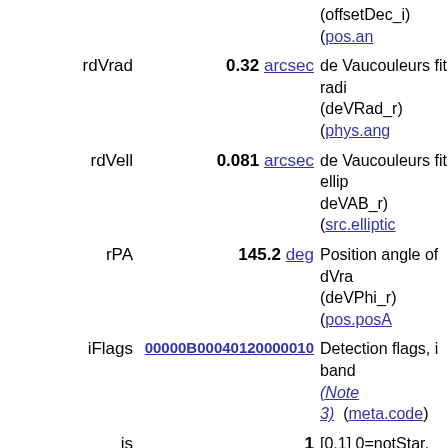| Name | Value | Description |
| --- | --- | --- |
| rdVrad | 0.32 arcsec | de Vaucouleurs fit radius (deVRad_r) (phys.ang...) |
| rdVell | 0.081 arcsec | de Vaucouleurs fit ellip... deVAB_r) (src.elliptic...) |
| rPA | 145.2 deg | Position angle of dVra... (deVPhi_r) (pos.posA...) |
| iFlags | 00000B00040120000010 | Detection flags, i band (Note 3) (meta.code) |
| is | 1 | [0,1] 0=notStar, 1=Sta... (probPSF_i) (src.class...) |
| ic | 6 | [0,9] Phototype in i ba... (type_i) (Note 1) (src.class.starGalaxy) |
| iDate | 2002.8288 yr | Date of observation in ... 6) (time.epoch) |
| i'mag | 21.999 mag | Model magnitude in i ... imag) (Note 5) (phot.mag;em.opt.I) |
| e_i'mag | 0.183 mag | Mean error on i'mag (=... (stat.error;phot.mag) |
| ipmag | 22.123 mag | PSF magnitude in i ba... (psfMag_i) (phot.mag...) |